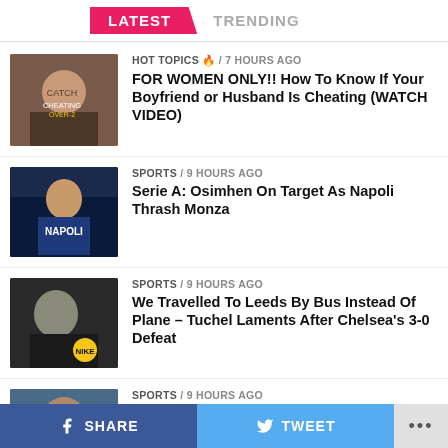LATEST | TRENDING
HOT TOPICS 🔥 / 7 hours ago — FOR WOMEN ONLY!! How To Know If Your Boyfriend or Husband Is Cheating (WATCH VIDEO)
SPORTS / 9 hours ago — Serie A: Osimhen On Target As Napoli Thrash Monza
SPORTS / 9 hours ago — We Travelled To Leeds By Bus Instead Of Plane – Tuchel Laments After Chelsea's 3-0 Defeat
SPORTS / 9 hours ago — Ex-Chelsea Coach Tells Tuchel Signing To Make...
SHARE | TWEET | ...